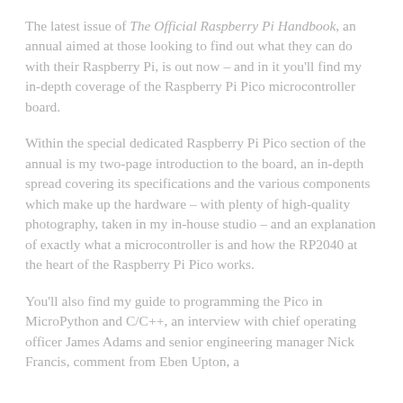The latest issue of The Official Raspberry Pi Handbook, an annual aimed at those looking to find out what they can do with their Raspberry Pi, is out now – and in it you'll find my in-depth coverage of the Raspberry Pi Pico microcontroller board.
Within the special dedicated Raspberry Pi Pico section of the annual is my two-page introduction to the board, an in-depth spread covering its specifications and the various components which make up the hardware – with plenty of high-quality photography, taken in my in-house studio – and an explanation of exactly what a microcontroller is and how the RP2040 at the heart of the Raspberry Pi Pico works.
You'll also find my guide to programming the Pico in MicroPython and C/C++, an interview with chief operating officer James Adams and senior engineering manager Nick Francis, comment from Eben Upton, a